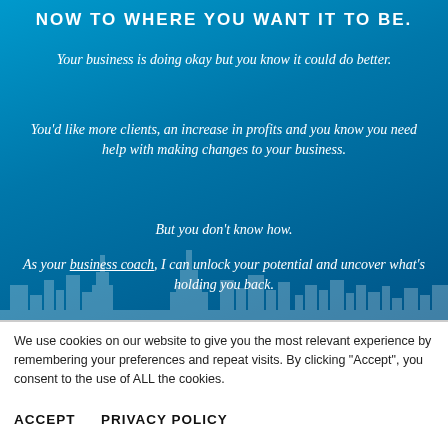NOW TO WHERE YOU WANT IT TO BE.
Your business is doing okay but you know it could do better.
You'd like more clients, an increase in profits and you know you need help with making changes to your business.
But you don't know how.
As your business coach, I can unlock your potential and uncover what's holding you back.
We use cookies on our website to give you the most relevant experience by remembering your preferences and repeat visits. By clicking “Accept”, you consent to the use of ALL the cookies.
ACCEPT   PRIVACY POLICY